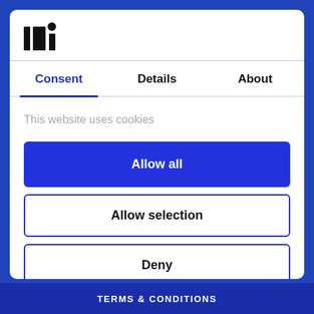[Figure (logo): UHI logo — stylized letters 'lhi' with a dot above the 'i', black on white]
Consent
Details
About
This website uses cookies
Allow all
Allow selection
Deny
Powered by Cookiebot by Usercentrics
TERMS & CONDITIONS